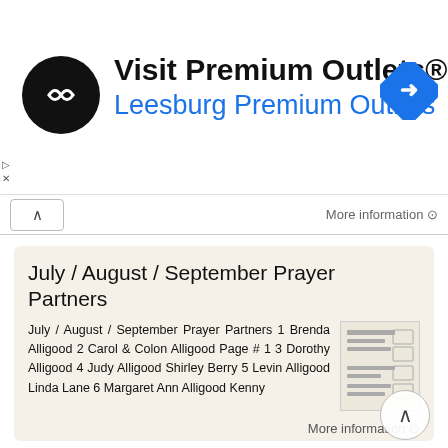[Figure (other): Advertisement banner for Visit Premium Outlets® - Leesburg Premium Outlets with circular logo and navigation icon]
More information ⊙
July / August / September Prayer Partners
July / August / September Prayer Partners 1 Brenda Alligood 2 Carol & Colon Alligood Page # 1 3 Dorothy Alligood 4 Judy Alligood Shirley Berry 5 Levin Alligood Linda Lane 6 Margaret Ann Alligood Kenny
More information ⊙
Valley View Golf Club 55th Annual Invitational Saturday, October 18 & Sunday, October 19 Prize Distribution
Valley View Golf Club 55th Annual Invitational